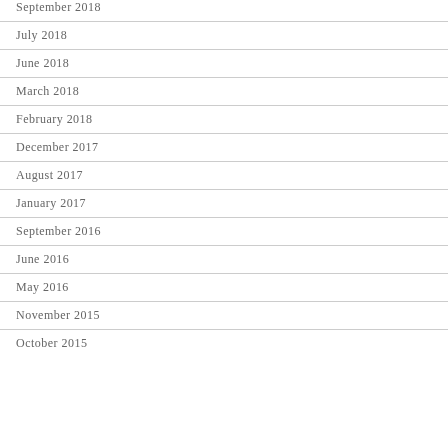September 2018
July 2018
June 2018
March 2018
February 2018
December 2017
August 2017
January 2017
September 2016
June 2016
May 2016
November 2015
October 2015